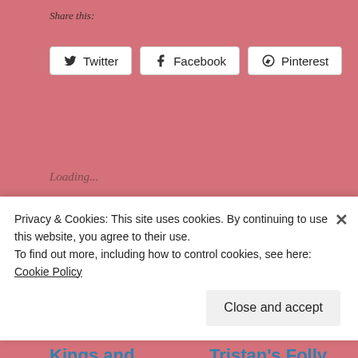Share this:
Twitter  Facebook  Pinterest
Loading...
Related
Kings and Daemons by Marcus Lee- Write
Tristan's Folly (The Gifted and the Cursed
Privacy & Cookies: This site uses cookies. By continuing to use this website, you agree to their use.
To find out more, including how to control cookies, see here: Cookie Policy
Close and accept